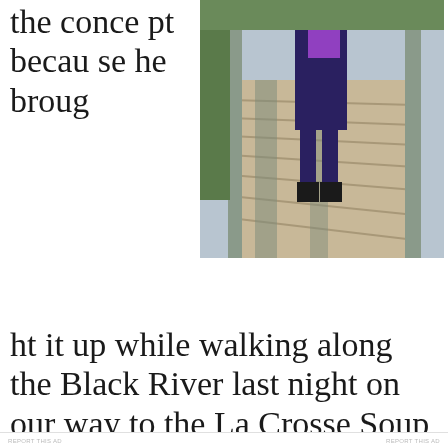the concept because he brought it up while walking along the Black River last night on our way to the La Crosse Soup outing.
[Figure (photo): A person walking on a wooden boardwalk/bridge along a river, shot from behind, wearing dark pants and boots, with shadows visible on the wooden planks.]
REPORT THIS AD
Privacy & Cookies: This site uses cookies. By continuing to use this website, you agree to their use.
To find out more, including how to control cookies, see here:
Cookie Policy
Close and accept